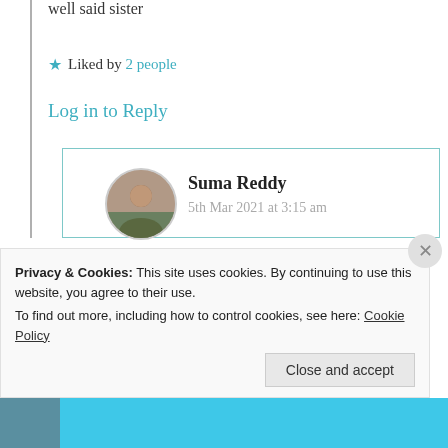well said sister
★ Liked by 2 people
Log in to Reply
Suma Reddy
5th Mar 2021 at 3:15 am
[Figure (photo): Circular avatar photo of Suma Reddy]
Thank you, God blesses 🙂
Privacy & Cookies: This site uses cookies. By continuing to use this website, you agree to their use.
To find out more, including how to control cookies, see here: Cookie Policy
Close and accept